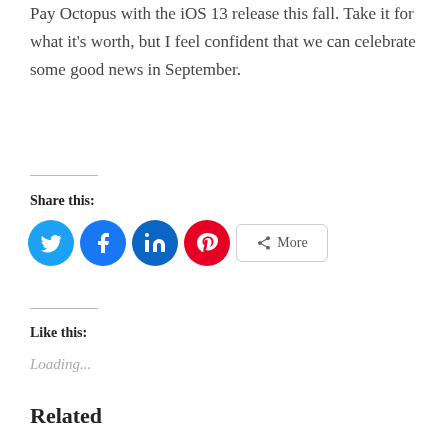Pay Octopus with the iOS 13 release this fall. Take it for what it's worth, but I feel confident that we can celebrate some good news in September.
Share this:
[Figure (other): Social share buttons: Twitter, Facebook, LinkedIn, Pinterest, More]
Like this:
Loading...
Related